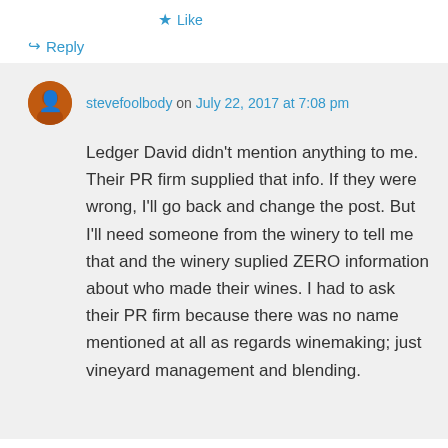★ Like
↪ Reply
stevefoolbody on July 22, 2017 at 7:08 pm
Ledger David didn't mention anything to me. Their PR firm supplied that info. If they were wrong, I'll go back and change the post. But I'll need someone from the winery to tell me that and the winery suplied ZERO information about who made their wines. I had to ask their PR firm because there was no name mentioned at all as regards winemaking; just vineyard management and blending.